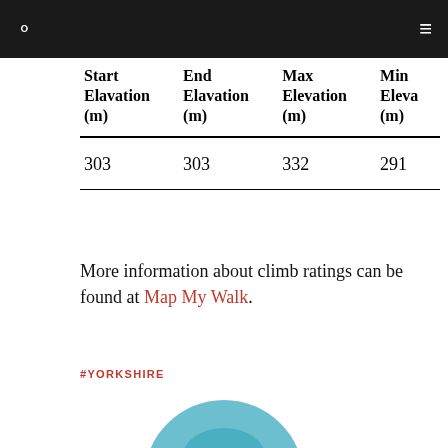| Start Elavation (m) | End Elavation (m) | Max Elevation (m) | Min Elevation (m) |
| --- | --- | --- | --- |
| 303 | 303 | 332 | 291 |
More information about climb ratings can be found at Map My Walk.
#YORKSHIRE
[Figure (photo): Circular portrait photo of a man wearing a teal/turquoise knit hat, smiling, outdoors with green background.]